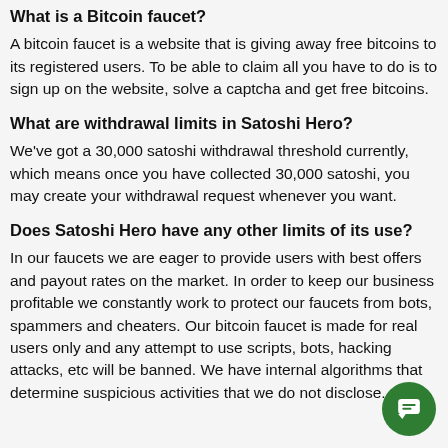What is a Bitcoin faucet?
A bitcoin faucet is a website that is giving away free bitcoins to its registered users. To be able to claim all you have to do is to sign up on the website, solve a captcha and get free bitcoins.
What are withdrawal limits in Satoshi Hero?
We've got a 30,000 satoshi withdrawal threshold currently, which means once you have collected 30,000 satoshi, you may create your withdrawal request whenever you want.
Does Satoshi Hero have any other limits of its use?
In our faucets we are eager to provide users with best offers and payout rates on the market. In order to keep our business profitable we constantly work to protect our faucets from bots, spammers and cheaters. Our bitcoin faucet is made for real users only and any attempt to use scripts, bots, hacking attacks, etc will be banned. We have internal algorithms that determine suspicious activities that we do not disclose.